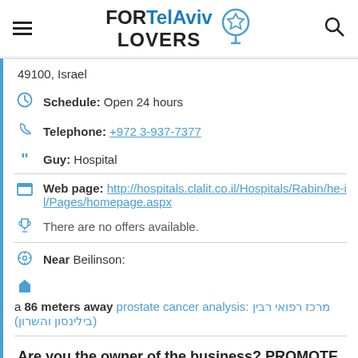FOR Tel Aviv LOVERS
49100, Israel
Schedule: Open 24 hours
Telephone: +972 3-937-7377
Guy: Hospital
Web page: http://hospitals.clalit.co.il/Hospitals/Rabin/he-il/Pages/homepage.aspx
There are no offers available.
Near Beilinson:
a 86 meters away prostate cancer analysis: מרכז רפואי רבין (בילינסון והשרון)
Are you the owner of the business? PROMOTE IT!